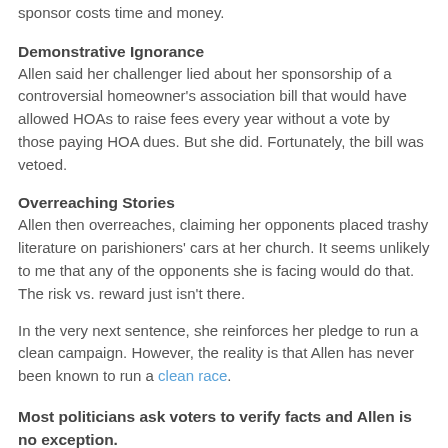sponsor costs time and money.
Demonstrative Ignorance
Allen said her challenger lied about her sponsorship of a controversial homeowner’s association bill that would have allowed HOAs to raise fees every year without a vote by those paying HOA dues. But she did. Fortunately, the bill was vetoed.
Overreaching Stories
Allen then overreaches, claiming her opponents placed trashy literature on parishioners’ cars at her church. It seems unlikely to me that any of the opponents she is facing would do that. The risk vs. reward just isn’t there.
In the very next sentence, she reinforces her pledge to run a clean campaign. However, the reality is that Allen has never been known to run a clean race.
Most politicians ask voters to verify facts and Allen is no exception.